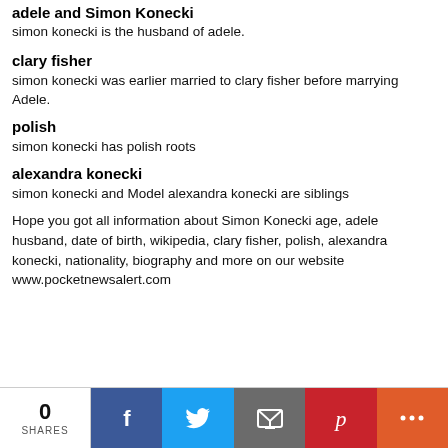adele and Simon Konecki
simon konecki is the husband of adele.
clary fisher
simon konecki was earlier married to clary fisher before marrying Adele.
polish
simon konecki has polish roots
alexandra konecki
simon konecki and Model alexandra konecki are siblings
Hope you got all information about Simon Konecki age, adele husband, date of birth, wikipedia, clary fisher, polish, alexandra konecki, nationality, biography and more on our website www.pocketnewsalert.com